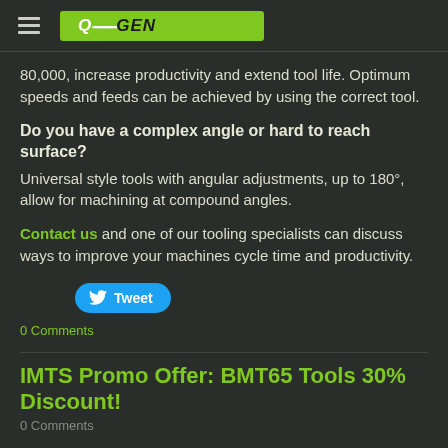QUGEN TOOLING
80,000, increase productivity and extend tool life. Optimum speeds and feeds can be achieved by using the correct tool.
Do you have a complex angle or hard to reach surface?
Universal style tools with angular adjustments, up to 180°, allow for machining at compound angles.
Contact us and one of our tooling specialists can discuss ways to improve your machines cycle time and productivity.
[Figure (other): Twitter Tweet button]
0 Comments
IMTS Promo Offer: BMT65 Tools 30% Discount!
0 Comments